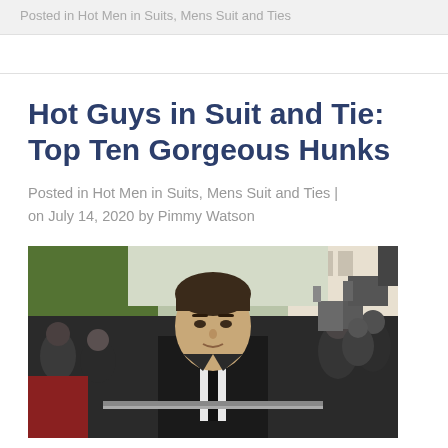Posted in Hot Men in Suits, Mens Suit and Ties
Hot Guys in Suit and Tie: Top Ten Gorgeous Hunks
Posted in Hot Men in Suits, Mens Suit and Ties | on July 14, 2020 by Pimmy Watson
[Figure (photo): A man in a dark suit and black tie at what appears to be a red carpet event, surrounded by photographers and crowd members in the background.]